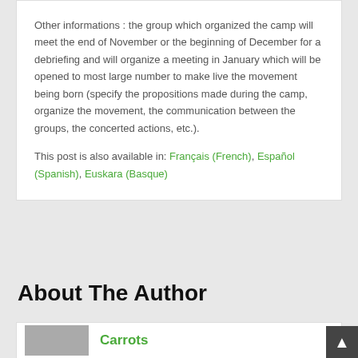Other informations : the group which organized the camp will meet the end of November or the beginning of December for a debriefing and will organize a meeting in January which will be opened to most large number to make live the movement being born (specify the propositions made during the camp, organize the movement, the communication between the groups, the concerted actions, etc.).
This post is also available in: Français (French), Español (Spanish), Euskara (Basque)
About The Author
Carrots